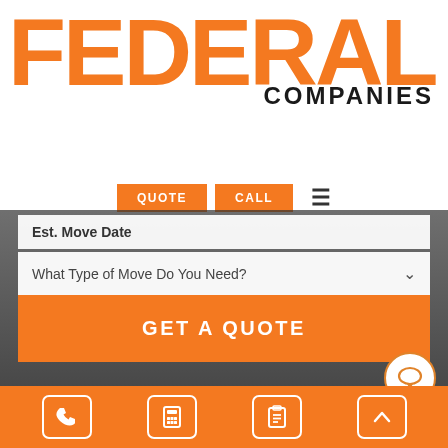[Figure (logo): Federal Companies logo — large orange bold text 'FEDERAL' with dark bold 'COMPANIES' to the lower right]
QUOTE   CALL   ≡
Est. Move Date
What Type of Move Do You Need?
GET A QUOTE
[Figure (illustration): Chat bubble icon — circle with speech bubble outline in orange]
[Figure (illustration): Bottom navigation bar with four icon buttons: phone, calculator, clipboard/list, and up arrow]